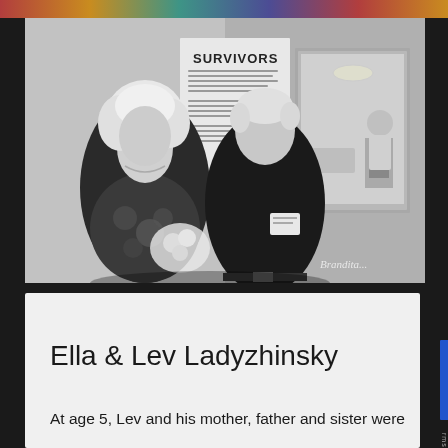[Figure (photo): Black and white photograph of two elderly people, a woman on the left with curly white hair wearing a floral patterned top and holding flowers, and a man on the right wearing a dark polo shirt with a name tag, standing in front of a wall display that reads 'SURVIVORS'. A framed photograph is visible on the wall behind them. Photographer's signature 'Brandita...' is visible in the lower right. The photo is from an exhibition or memorial event.]
Ella & Lev Ladyzhinsky
At age 5, Lev and his mother, father and sister were